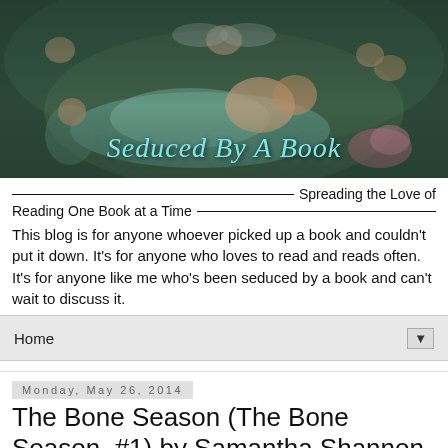[Figure (illustration): Decorative painting-style banner showing a reclining woman in flowing teal/green garments surrounded by cherubs/angels, with flowers. Text overlay reads 'Seduced By A Book' in cursive teal font.]
Seduced By A Book
Spreading the Love of Reading One Book at a Time
This blog is for anyone whoever picked up a book and couldn't put it down. It's for anyone who loves to read and reads often. It's for anyone like me who's been seduced by a book and can't wait to discuss it.
Home ▼
Monday, May 26, 2014
The Bone Season (The Bone Season, #1) by Samantha Shannon